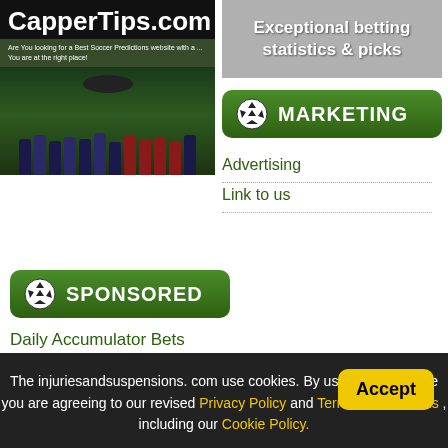[Figure (screenshot): CapperTips.com website banner with soccer players on field, text reading 'Are You looking for a Best Soccer Predictions website with a... You are at the right place!']
[Figure (screenshot): Gray box with text 'Exceptional betting statistics & picks']
[Figure (other): Green button with soccer ball icon and text 'MARKETING']
Advertising
Link to us
[Figure (other): Green button with soccer ball icon and text 'SPONSORED']
Daily Accumulator Bets
Accumulator Tips
Football Tips 1X2
The injuriesandsuspensions. com use cookies. By using this web site you are agreeing to our revised Privacy Policy and Terms & Conditions , including our Cookie Policy.
Accept